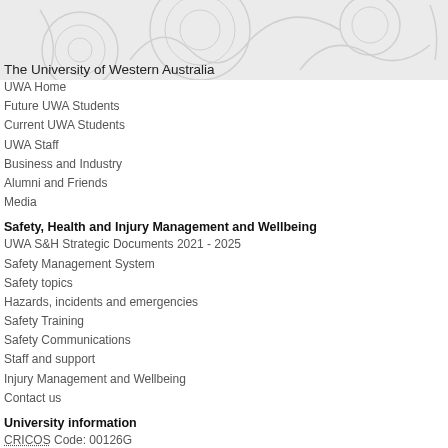The University of Western Australia
UWA Home
Future UWA Students
Current UWA Students
UWA Staff
Business and Industry
Alumni and Friends
Media
Safety, Health and Injury Management and Wellbeing
UWA S&H Strategic Documents 2021 - 2025
Safety Management System
Safety topics
Hazards, incidents and emergencies
Safety Training
Safety Communications
Staff and support
Injury Management and Wellbeing
Contact us
University information
CRICOS Code: 00126G
Accessibility